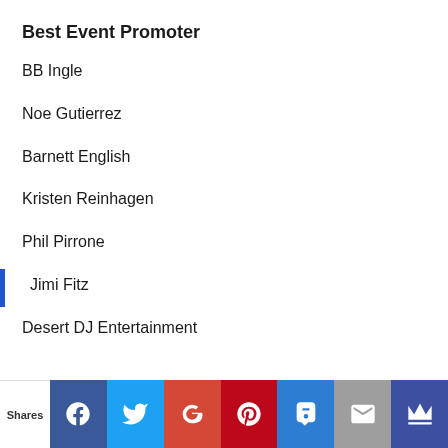Best Event Promoter
BB Ingle
Noe Gutierrez
Barnett English
Kristen Reinhagen
Phil Pirrone
Jimi Fitz
Desert DJ Entertainment
Shares | Facebook | Twitter | Google+ | Pinterest | SMS | Email | Crown